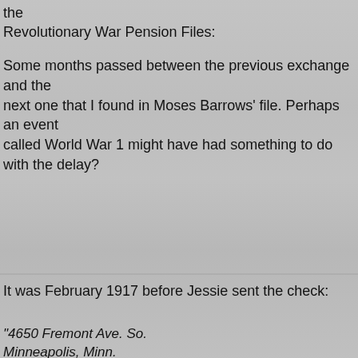[Figure (photo): Grayscale background photo of a group of people, appearing to be a historical photograph overlaid behind the text content.]
the Revolutionary War Pension Files:
Some months passed between the previous exchange and the next one that I found in Moses Barrows' file. Perhaps an event called World War 1 might have had something to do with the delay?
It was February 1917 before Jessie sent the check:
"4650 Fremont Ave. So. Minneapolis, Minn. Feb. 17,1917 Commissioner of Pensions Dear Sir:- Enclosed please find my certified check for $3.15. Please send